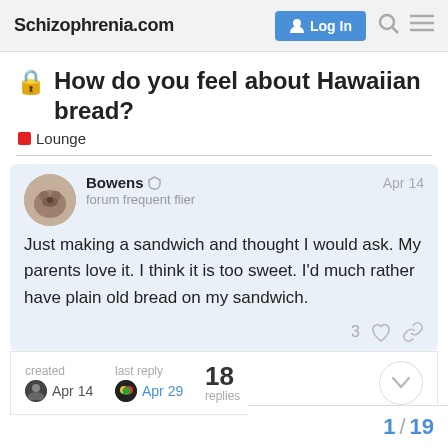Schizophrenia.com
How do you feel about Hawaiian bread?
Lounge
Bowens  forum frequent flier  Apr 14
Just making a sandwich and thought I would ask. My parents love it. I think it is too sweet. I'd much rather have plain old bread on my sandwich.
created Apr 14  last reply Apr 29  18 replies
1 / 19